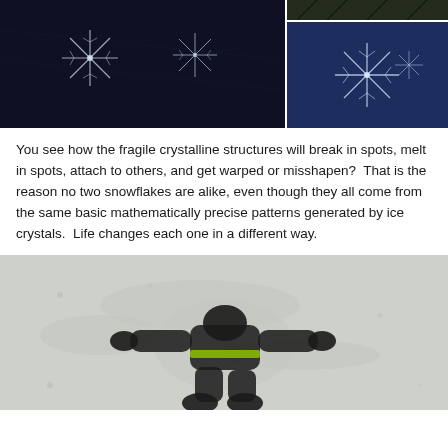[Figure (photo): Close-up macro photo of snowflakes/ice crystals on dark background, showing detailed crystalline structures]
[Figure (photo): Small photo of dark green pine needles or foliage]
[Figure (photo): Photo of ice crystals or snowflakes on blue background]
You see how the fragile crystalline structures will break in spots, melt in spots, attach to others, and get warped or misshapen?  That is the reason no two snowflakes are alike, even though they all come from the same basic mathematically precise patterns generated by ice crystals.  Life changes each one in a different way.
[Figure (photo): Aerial or overhead photo of a person lying in snow making a snow angel, wearing black and green winter clothing]